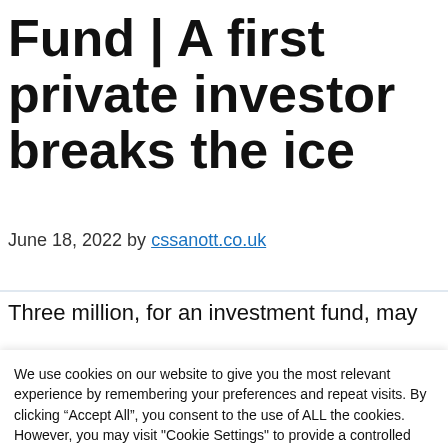Fund | A first private investor breaks the ice
June 18, 2022 by cssanott.co.uk
Three million, for an investment fund, may
We use cookies on our website to give you the most relevant experience by remembering your preferences and repeat visits. By clicking “Accept All”, you consent to the use of ALL the cookies. However, you may visit "Cookie Settings" to provide a controlled consent.